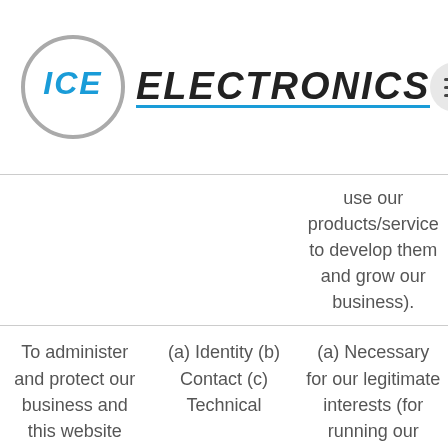[Figure (logo): ICE Electronics logo with circular border and blue/black text]
| Purpose/Activity | Type of data | Lawful basis for processing |
| --- | --- | --- |
|  |  | use our products/service to develop them and grow our business). |
| To administer and protect our business and this website (including troubleshooting, data analysis, testing, system maintenance, support, reporting | (a) Identity (b) Contact (c) Technical | (a) Necessary for our legitimate interests (for running our business, provision of administration and IT services, network security, to prevent fraud |